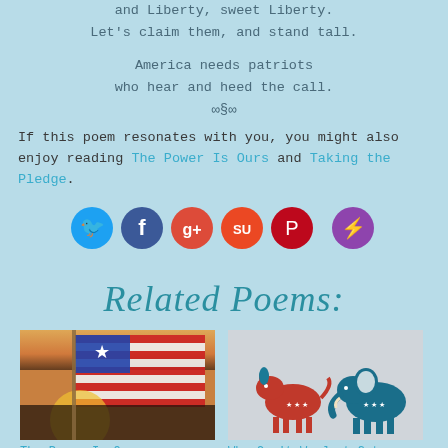and Liberty, sweet Liberty.
Let's claim them, and stand tall.
America needs patriots
who hear and heed the call.
∞§∞
If this poem resonates with you, you might also enjoy reading The Power Is Ours and Taking the Pledge.
[Figure (infographic): Row of six social media sharing icons: Twitter (blue bird), Facebook (blue f), Google+ (red g+), StumbleUpon (orange SU), Pinterest (red P), and a purple lightning bolt icon.]
Related Poems:
[Figure (photo): Photo of an American flag with stars and red/white stripes, backlit by a golden sunset glow, dark silhouetted foreground.]
The Power Is Ours
[Figure (illustration): Illustration of a red Democrat donkey and a teal/blue Republican elephant side by side on a gray background, each with white stars on their bodies.]
Why Can't We Just Get Along?